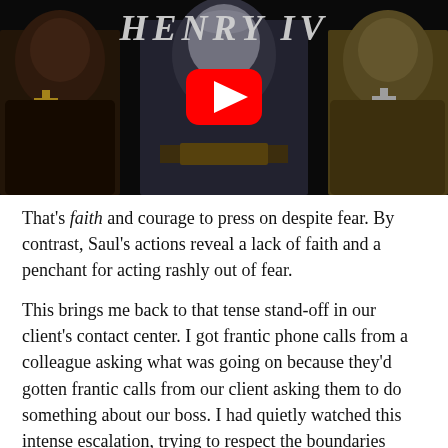[Figure (screenshot): YouTube video thumbnail showing a medieval scene with three figures — a central character dressed in royal/regal attire with gold accessories, flanked by two figures in dark monk-like robes wearing crosses. Text 'HENRY IV' visible at top in large italic font. A red YouTube play button overlaid in the center.]
That's faith and courage to press on despite fear. By contrast, Saul's actions reveal a lack of faith and a penchant for acting rashly out of fear.
This brings me back to that tense stand-off in our client's contact center. I got frantic phone calls from a colleague asking what was going on because they'd gotten frantic calls from our client asking them to do something about our boss. I had quietly watched this intense escalation, trying to respect the boundaries between myself and my boss. He had basically